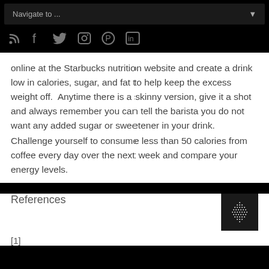Navigate to ...
online at the Starbucks nutrition website and create a drink low in calories, sugar, and fat to help keep the excess weight off.  Anytime there is a skinny version, give it a shot and always remember you can tell the barista you do not want any added sugar or sweetener in your drink.  Challenge yourself to consume less than 50 calories from coffee every day over the next week and compare your energy levels.
References
[1]